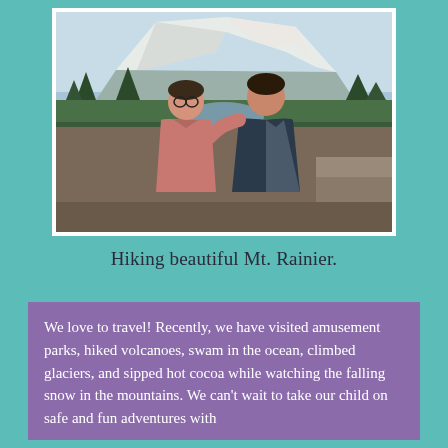[Figure (photo): Two people standing together outdoors in front of a mountain (Mt. Rainier) with snowy peaks, trees, and a valley visible behind them. One person wears a pink t-shirt, the other wears a dark blue jacket.]
Hiking beautiful Mt. Rainier.
We love to travel! Recently, we have visited amusement parks, hiked volcanoes, swam in the ocean, climbed glaciers, and sipped hot cocoa while watching the falling snow in the mountains. We can't wait to take our child on safe and fun adventures with